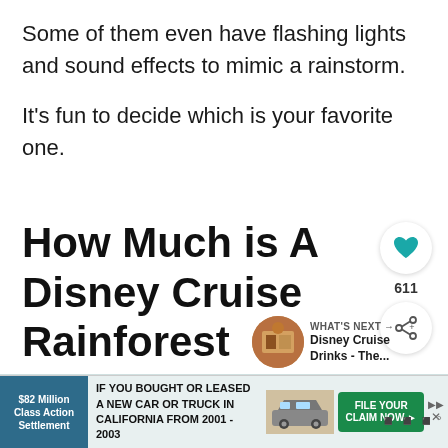Some of them even have flashing lights and sound effects to mimic a rainstorm.

It's fun to decide which is your favorite one.
How Much is A Disney Cruise Rainforest Pass?
[Figure (infographic): Heart/like icon in circular button, count 611, and share icon in circular button on right sidebar]
[Figure (infographic): WHAT'S NEXT arrow label with thumbnail image and text 'Disney Cruise Drinks - The...']
[Figure (infographic): Advertisement banner: $82 Million Class Action Settlement - IF YOU BOUGHT OR LEASED A NEW CAR OR TRUCK IN CALIFORNIA FROM 2001 - 2003 - FILE YOUR CLAIM NOW button]